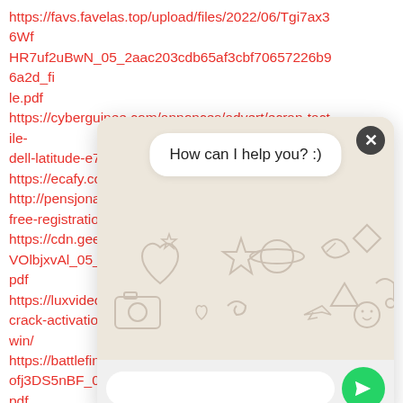https://favs.favelas.top/upload/files/2022/06/Tgi7ax36WfHR7uf2uBwN_05_2aac203cdb65af3cbf70657226b96a2d_file.pdf
https://cyberguinee.com/annonces/advert/ecran-tactile-dell-latitude-e724
https://ecafy.com
http://pensjonate free-registration-
https://cdn.geeb. VOlbjxvAl_05_2aa pdf
https://luxvideo.tv crack-activation- win/
https://battlefinit ofj3DS5nBF_05_01 pdf
http://empoderamientodelospueblosoriginarios ac.com/wp
[Figure (screenshot): WhatsApp-style chat widget overlay with beige/cream emoji-doodle patterned background, a white rounded speech bubble containing 'How can I help you? :)', a dark close button (x) in top right corner, a white rounded input bar at bottom, and a green send button with arrow icon.]